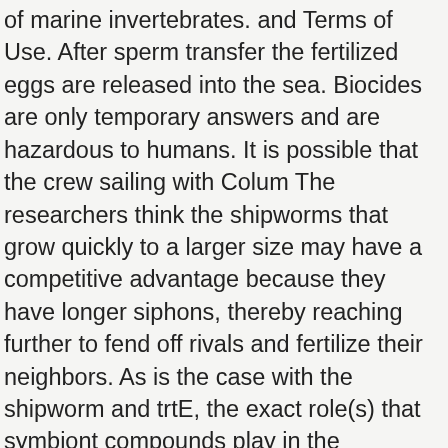of marine invertebrates. and Terms of Use. After sperm transfer the fertilized eggs are released into the sea. Biocides are only temporary answers and are hazardous to humans. It is possible that the crew sailing with Colum The researchers think the shipworms that grow quickly to a larger size may have a competitive advantage because they have longer siphons, thereby reaching further to fend off rivals and fertilize their neighbors. As is the case with the shipworm and trtE, the exact role(s) that symbiont compounds play in the symbiosis is often unknown . The ocean needs them! Wash your hands with soap and warm water before handling food. PVC jackets prevent water from touching or penetrating the wood of your dock's pilings. Learn about whipworm infection symptoms, treatment, and prevention. "When I got a little closer, I realized the siphons of these animals were just going crazy and I was witnessing a sexual frenzy, and I decided to film it. You will be subject to the destination website's privacy policy when you follow the link. Medical Xpress covers all medical research advances